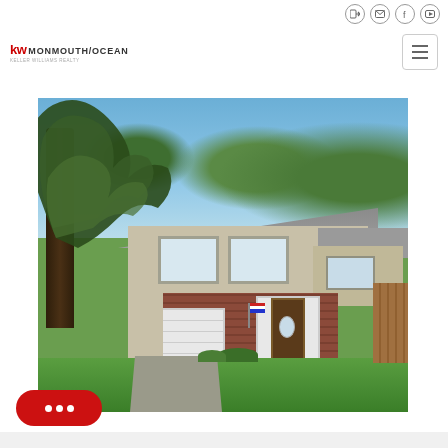KW Monmouth/Ocean - Keller Williams Realty navigation bar with social icons
[Figure (logo): KW Monmouth/Ocean Keller Williams Realty logo — red KW mark followed by MONMOUTH/OCEAN text in dark gray, with smaller subtitle text below]
[Figure (photo): Exterior photo of a two-story split-level suburban home with tan/gray vinyl siding, brick lower facade, white garage door, large oak tree on the left foreground, well-manicured green lawn, blue sky with trees in background]
[Figure (illustration): Red rounded chat/messaging button with three white dots in the lower-left corner of the page]